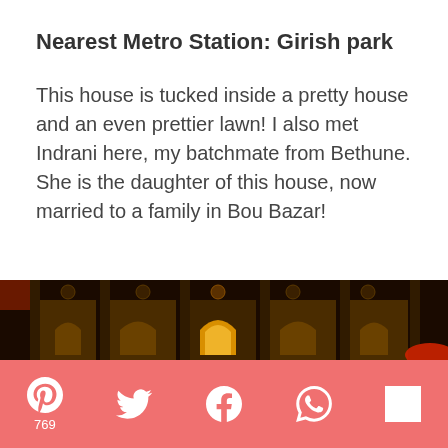Nearest Metro Station: Girish park
This house is tucked inside a pretty house and an even prettier lawn! I also met Indrani here, my batchmate from Bethune. She is the daughter of this house, now married to a family in Bou Bazar!
[Figure (photo): Nighttime photograph of an old colonial-style building facade with arched windows illuminated from inside, warm orange glow, dark background]
Pinterest 769 | Twitter | Facebook | WhatsApp | Flipboard